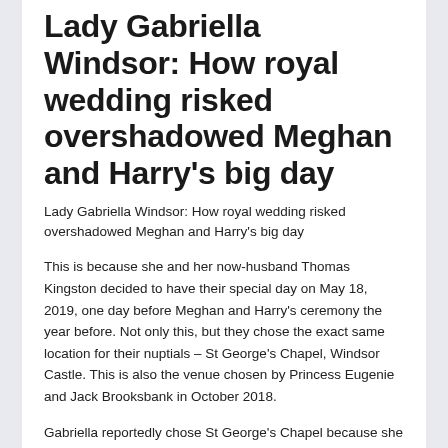Lady Gabriella Windsor: How royal wedding risked overshadowed Meghan and Harry's big day
Lady Gabriella Windsor: How royal wedding risked overshadowed Meghan and Harry's big day
This is because she and her now-husband Thomas Kingston decided to have their special day on May 18, 2019, one day before Meghan and Harry's ceremony the year before. Not only this, but they chose the exact same location for their nuptials – St George's Chapel, Windsor Castle. This is also the venue chosen by Princess Eugenie and Jack Brooksbank in October 2018.
Gabriella reportedly chose St George's Chapel because she has “fond memories” of spending Christmas there and being a bridesmaid for Lady Helen Taylor, the daughter of the Duke and